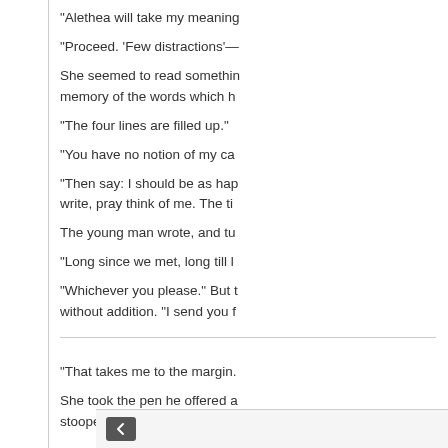“Alethea will take my meaning
“Proceed. ‘Few distractions’—
She seemed to read something memory of the words which h
“The four lines are filled up.”
“You have no notion of my ca
“Then say: I should be as hap write, pray think of me. The ti
The young man wrote, and tu
“Long since we met, long till l
“Whichever you please.” But t without addition. “I send you f
“That takes me to the margin.
She took the pen he offered a stooped, and rang against the